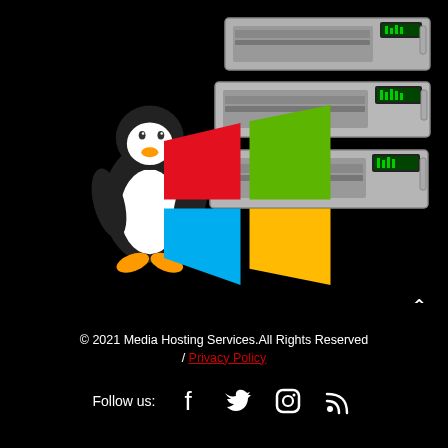[Figure (illustration): Hero image showing a Linux Tux penguin mascot and Windows logo on the left, with a stack of rack-mounted servers on the right, on a black background.]
© 2021 Media Hosting Services.All Rights Reserved / Privacy Policy
Follow us: